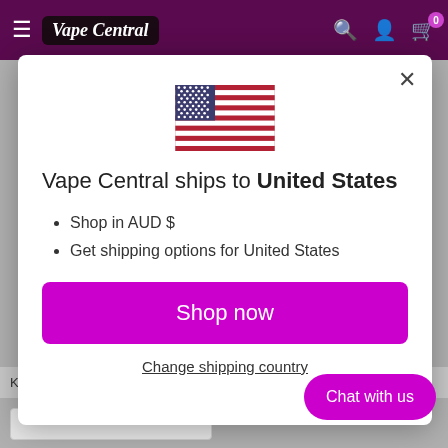Vape Central — navigation bar with hamburger menu, logo, search, account, cart icons
[Figure (screenshot): US flag icon in the modal dialog]
Vape Central ships to United States
Shop in AUD $
Get shipping options for United States
Shop now
Change shipping country
Keep up to date with new products and sp...
Chat with us